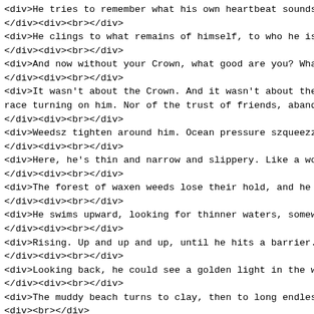<div>He tries to remember what his own heartbeat sounds </div><div><br></div>
<div>He clings to what remains of himself, to who he is a</div><div><br></div>
<div>And now without your Crown, what good are you? What:</div><div><br></div>
<div>It wasn't about the Crown. And it wasn't about the r race turning on him. Nor of the trust of friends, abando</div><div><br></div>
<div>Weedsz tighten around him. Ocean pressure szqueezzes</div><div><br></div>
<div>Here, he's thin and narrow and slippery. Like a worn</div><div><br></div>
<div>The forest of waxen weeds lose their hold, and he we</div><div><br></div>
<div>He swims upward, looking for thinner waters, somewhe</div><div><br></div>
<div>Rising. Up and up and up, until he hits a barrier. A</div><div><br></div>
<div>Looking back, he could see a golden light in the wat</div><div><br></div>
<div>The muddy beach turns to clay, then to long endless</div><div><br></div>
<div>He begins to crawl. Its hard to move. The darkness p</div><div><br></div>
<div>And the sand sticks to his strings and his threads.</div><div><br></div>
<div>No matter which direction he chooses, it always seen</div><div><br></div>
<div>He loses track of time. He can't tell how much has p</div>